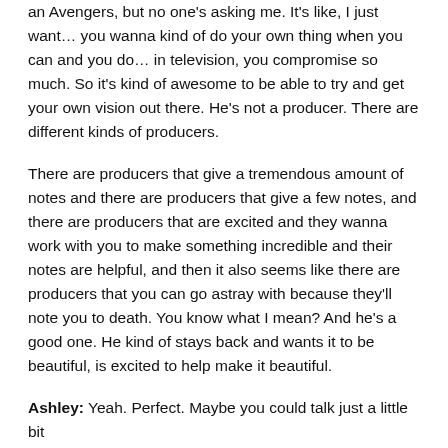an Avengers, but no one's asking me. It's like, I just want… you wanna kind of do your own thing when you can and you do… in television, you compromise so much. So it's kind of awesome to be able to try and get your own vision out there. He's not a producer. There are different kinds of producers.
There are producers that give a tremendous amount of notes and there are producers that give a few notes, and there are producers that are excited and they wanna work with you to make something incredible and their notes are helpful, and then it also seems like there are producers that you can go astray with because they'll note you to death. You know what I mean? And he's a good one. He kind of stays back and wants it to be beautiful, is excited to help make it beautiful.
Ashley: Yeah. Perfect. Maybe you could talk just a little bit